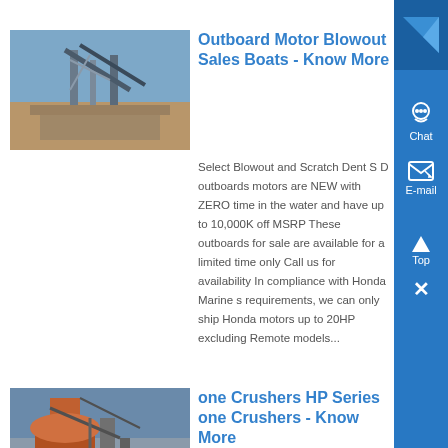[Figure (photo): Industrial conveyor/processing plant with machinery and blue sky]
Outboard Motor Blowout Sales Boats - Know More
Select Blowout and Scratch Dent S D outboards motors are NEW with ZERO time in the water and have up to 10,000K off MSRP These outboards for sale are available for a limited time only Call us for availability In compliance with Honda Marine s requirements, we can only ship Honda motors up to 20HP excluding Remote models...
[Figure (photo): Large industrial cone crusher equipment with orange/rust colored structure]
one Crushers HP Series one Crushers - Know More
plants, HP cone crushers provide unbeatable performance in secondary,